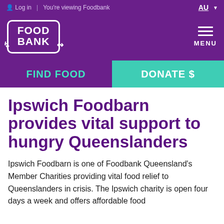Log in | You're viewing Foodbank | AU
[Figure (logo): Foodbank logo - white text in rounded rectangle on purple background with down/up arrows on sides]
MENU
FIND FOOD
DONATE $
Ipswich Foodbarn provides vital support to hungry Queenslanders
Ipswich Foodbarn is one of Foodbank Queensland's Member Charities providing vital food relief to Queenslanders in crisis. The Ipswich charity is open four days a week and offers affordable food